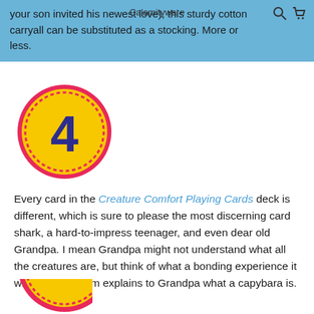your son invited his newest love), this sturdy cotton carryall can be substituted as a stocking. More or less.
[Figure (illustration): Yellow circular badge with number 4 in dark blue/purple, surrounded by pink/red dashed border on blue background]
Every card in the Creature Comfort Playing Cards deck is different, which is sure to please the most discerning card shark, a hard-to-impress teenager, and even dear old Grandpa. I mean Grandpa might not understand what all the creatures are, but think of what a bonding experience it will be when Liam explains to Grandpa what a capybara is.
[Figure (illustration): Partial view of yellow circular badge (bottom of page), same style as badge with number 4 above]